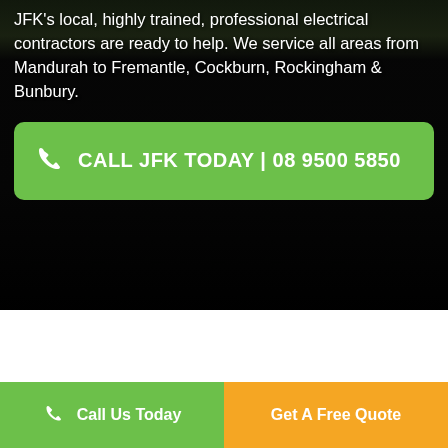JFK's local, highly trained, professional electrical contractors are ready to help. We service all areas from Mandurah to Fremantle, Cockburn, Rockingham & Bunbury.
CALL JFK TODAY | 08 9500 5850
Call Us Today
Get A Free Quote